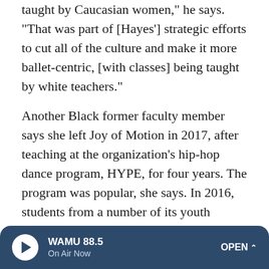taught by Caucasian women," he says. "That was part of [Hayes'] strategic efforts to cut all of the culture and make it more ballet-centric, [with classes] being taught by white teachers."
Another Black former faculty member says she left Joy of Motion in 2017, after teaching at the organization's hip-hop dance program, HYPE, for four years. The program was popular, she says. In 2016, students from a number of its youth programs, including HYPE, performed Michael Jackson's "Thriller" for the Obamas at the White House's annual Halloween party.
She says leaders at the nonprofit told her there wasn't enough funding to continue the program in its current format.
[Figure (other): WAMU 88.5 radio player bar with play button, station name, On Air Now label, and OPEN chevron button]